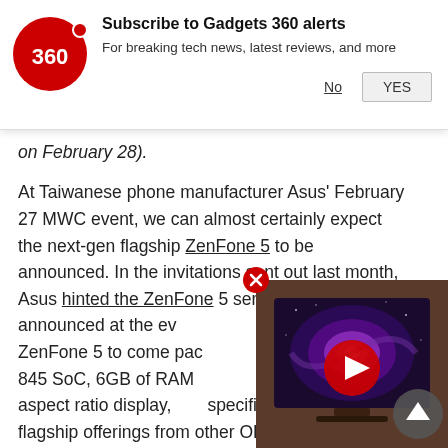[Figure (logo): Gadgets 360 logo — red circle with white '360' text and red dot accent]
Subscribe to Gadgets 360 alerts
For breaking tech news, latest reviews, and more
No   YES
on February 28).
At Taiwanese phone manufacturer Asus' February 27 MWC event, we can almost certainly expect the next-gen flagship ZenFone 5 to be announced. In the invitations sent out last month, Asus hinted the ZenFone 5 series will be announced at the event. We also expect the flagship ZenFone 5 to come packed with Qualcomm Snapdragon 845 SoC, 6GB of RAM and 64/128GB of storage, a 18:9 aspect ratio display, and other specifications on par with flagship offerings from other OEMs. The phone is suggested to run Android 8.0 Oreo out-of-box, with Asus' custom ZenUI skin on top. A
[Figure (screenshot): Video thumbnail showing a galaxy/spiral nebula image on a TV screen, with a red play button overlay in the center]
[Figure (other): Red circle X close button for the video overlay]
[Figure (other): Scroll-to-top arrow button (dark circular button with up arrow)]